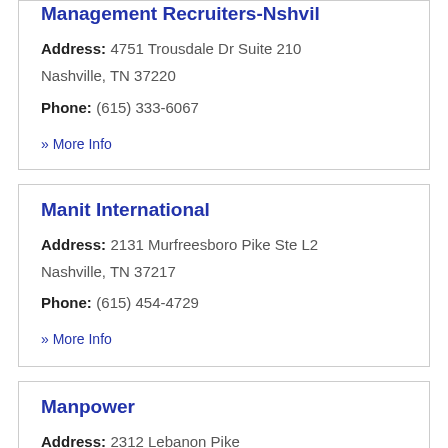Management Recruiters-Nshvil
Address: 4751 Trousdale Dr Suite 210 Nashville, TN 37220
Phone: (615) 333-6067
» More Info
Manit International
Address: 2131 Murfreesboro Pike Ste L2 Nashville, TN 37217
Phone: (615) 454-4729
» More Info
Manpower
Address: 2312 Lebanon Pike